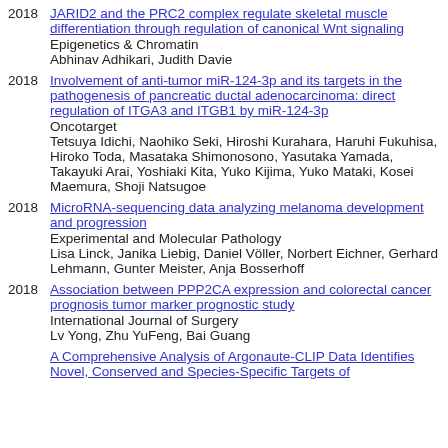2018 JARID2 and the PRC2 complex regulate skeletal muscle differentiation through regulation of canonical Wnt signaling
Epigenetics & Chromatin
Abhinav Adhikari, Judith Davie
2018 Involvement of anti-tumor miR-124-3p and its targets in the pathogenesis of pancreatic ductal adenocarcinoma: direct regulation of ITGA3 and ITGB1 by miR-124-3p
Oncotarget
Tetsuya Idichi, Naohiko Seki, Hiroshi Kurahara, Haruhi Fukuhisa, Hiroko Toda, Masataka Shimonosono, Yasutaka Yamada, Takayuki Arai, Yoshiaki Kita, Yuko Kijima, Yuko Mataki, Kosei Maemura, Shoji Natsugoe
2018 MicroRNA-sequencing data analyzing melanoma development and progression
Experimental and Molecular Pathology
Lisa Linck, Janika Liebig, Daniel Völler, Norbert Eichner, Gerhard Lehmann, Gunter Meister, Anja Bosserhoff
2018 Association between PPP2CA expression and colorectal cancer prognosis tumor marker prognostic study
International Journal of Surgery
Lv Yong, Zhu YuFeng, Bai Guang
A Comprehensive Analysis of Argonaute-CLIP Data Identifies Novel, Conserved and Species-Specific Targets of